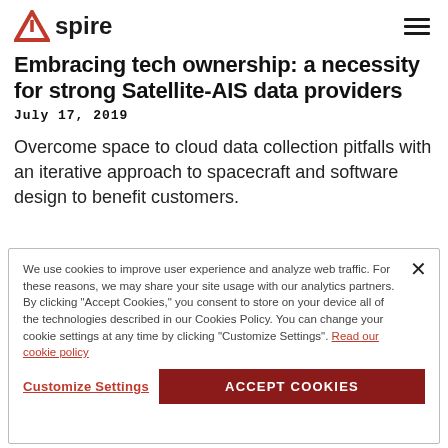Aspire (logo)
Embracing tech ownership: a necessity for strong Satellite-AIS data providers
July 17, 2019
Overcome space to cloud data collection pitfalls with an iterative approach to spacecraft and software design to benefit customers.
We use cookies to improve user experience and analyze web traffic. For these reasons, we may share your site usage with our analytics partners. By clicking 'Accept Cookies,' you consent to store on your device all of the technologies described in our Cookies Policy. You can change your cookie settings at any time by clicking 'Customize Settings'. Read our cookie policy
Customize Settings   ACCEPT COOKIES